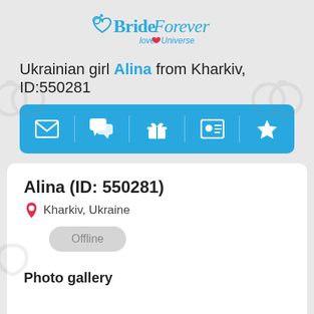[Figure (logo): BrideForever love Universe logo in teal/blue cursive text with a heart icon]
Ukrainian girl Alina from Kharkiv, ID:550281
[Figure (infographic): Blue action bar with 5 icons: envelope, chat, gift, contact card, star]
Alina (ID: 550281)
Kharkiv, Ukraine
Offline
Photo gallery